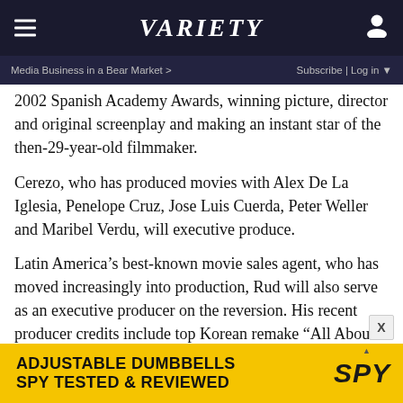VARIETY
Media Business in a Bear Market > Subscribe | Log in
2002 Spanish Academy Awards, winning picture, director and original screenplay and making an instant star of the then-29-year-old filmmaker.
Cerezo, who has produced movies with Alex De La Iglesia, Penelope Cruz, Jose Luis Cuerda, Peter Weller and Maribel Verdu, will executive produce.
Latin America's best-known movie sales agent, who has moved increasingly into production, Rud will also serve as an executive producer on the reversion. His recent producer credits include top Korean remake “All About My Wife” and “Padre No Hay Más Que Uno,” also an overseas remake of an Argentine original. “Padre” proved the highest-grossing local film in Spain last year for director, co-writer and
[Figure (other): Advertisement banner for Adjustable Dumbbells from SPY - yellow background with bold black text reading ADJUSTABLE DUMBBELLS SPY TESTED & REVIEWED]